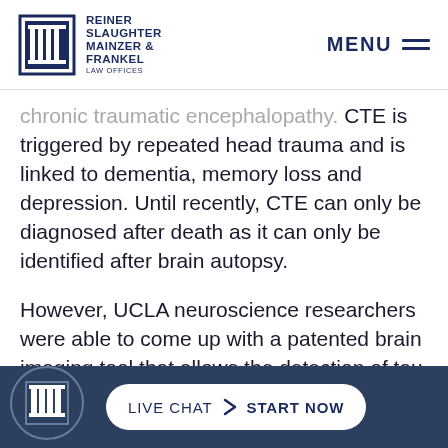Reiner Slaughter Mainzer & Frankel Law Offices
chronic traumatic encephalopathy. CTE is triggered by repeated head trauma and is linked to dementia, memory loss and depression. Until recently, CTE can only be diagnosed after death as it can only be identified after brain autopsy.
However, UCLA neuroscience researchers were able to come up with a patented brain imaging tool that allows the detection of tau proteins in living subjects' brains. Tau is an abnormal protein that strangles brain cells and contributes to their death. The stu...
LIVE CHAT  START NOW